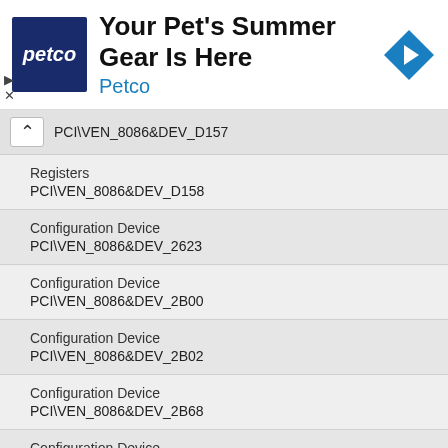[Figure (screenshot): Petco advertisement banner with logo, headline 'Your Pet's Summer Gear Is Here', subtext 'Petco', and navigation arrow icon]
PCI\VEN_8086&DEV_D157
Registers
PCI\VEN_8086&DEV_D158
Configuration Device
PCI\VEN_8086&DEV_2623
Configuration Device
PCI\VEN_8086&DEV_2B00
Configuration Device
PCI\VEN_8086&DEV_2B02
Configuration Device
PCI\VEN_8086&DEV_2B68
Configuration Device
PCI\VEN_8086&DEV_2B6A